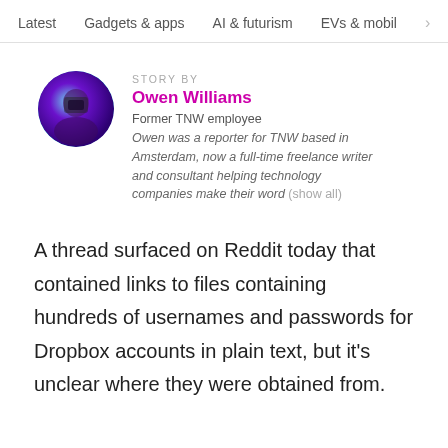Latest   Gadgets & apps   AI & futurism   EVs & mobil  >
STORY BY
Owen Williams
Former TNW employee
Owen was a reporter for TNW based in Amsterdam, now a full-time freelance writer and consultant helping technology companies make their word (show all)
A thread surfaced on Reddit today that contained links to files containing hundreds of usernames and passwords for Dropbox accounts in plain text, but it's unclear where they were obtained from.